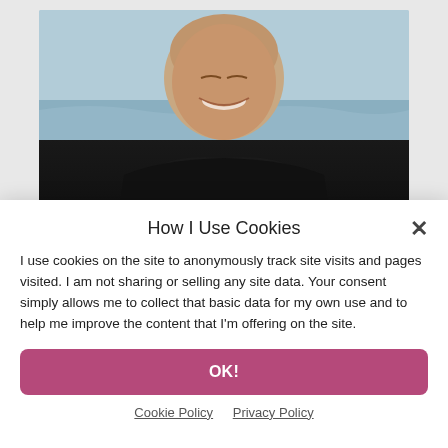[Figure (photo): Portrait photo of a smiling middle-aged man wearing a black polo shirt, photographed outdoors near a beach with water visible in the background.]
[Figure (infographic): Three social media icon circles: LinkedIn (dark blue), Facebook (dark blue), Twitter (light blue)]
How I Use Cookies
I use cookies on the site to anonymously track site visits and pages visited. I am not sharing or selling any site data. Your consent simply allows me to collect that basic data for my own use and to help me improve the content that I'm offering on the site.
OK!
Cookie Policy   Privacy Policy